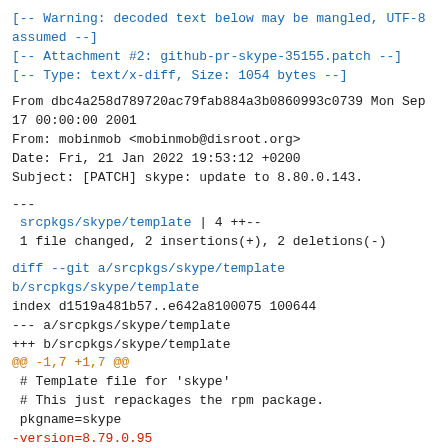[-- Warning: decoded text below may be mangled, UTF-8 assumed --]
[-- Attachment #2: github-pr-skype-35155.patch --]
[-- Type: text/x-diff, Size: 1054 bytes --]
From dbc4a258d789720ac79fab884a3b0860993c0739 Mon Sep 17 00:00:00 2001
From: mobinmob <mobinmob@disroot.org>
Date: Fri, 21 Jan 2022 19:53:12 +0200
Subject: [PATCH] skype: update to 8.80.0.143.
---
 srcpkgs/skype/template | 4 ++--
 1 file changed, 2 insertions(+), 2 deletions(-)
diff --git a/srcpkgs/skype/template b/srcpkgs/skype/template
index d1519a481b57..e642a8100075 100644
--- a/srcpkgs/skype/template
+++ b/srcpkgs/skype/template
@@ -1,7 +1,7 @@
 # Template file for 'skype'
 # This just repackages the rpm package.
 pkgname=skype
-version=8.79.0.95
+version=8.80.0.143
 revision=1
 archs="x86_64"
 create_wrksrc=yes
@@ -12,7 +12,7 @@ maintainer="mobinmob